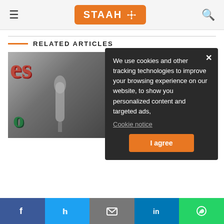STAAH — navigation header with hamburger menu, logo, and search icon
RELATED ARTICLES
[Figure (photo): Article thumbnail showing graffiti-style artwork with a person holding a microphone]
We use cookies and other tracking technologies to improve your browsing experience on our website, to show you personalized content and targeted ads,
Cookie notice
I agree
Social sharing bar: Facebook, Twitter, Email, LinkedIn, WhatsApp